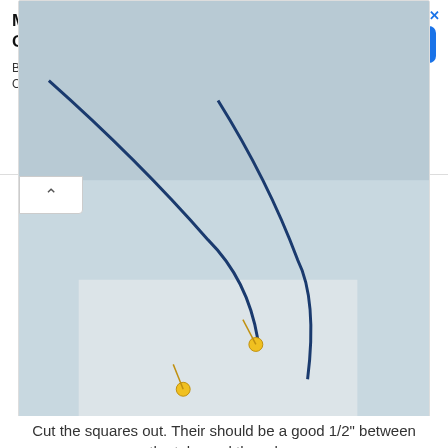[Figure (screenshot): Advertisement banner for MARK RYDEN BACKPACK Official Store with OPEN button]
[Figure (photo): Photo of fabric squares cut out, showing blue fabric and white paper on a table, with sewing tabs visible]
Cut the squares out. Their should be a good 1/2" between the tabs and the edge.
[Figure (photo): Close-up photo of blue fabric pieces pinned together with yellow pins, showing sewn edges with blue binding]